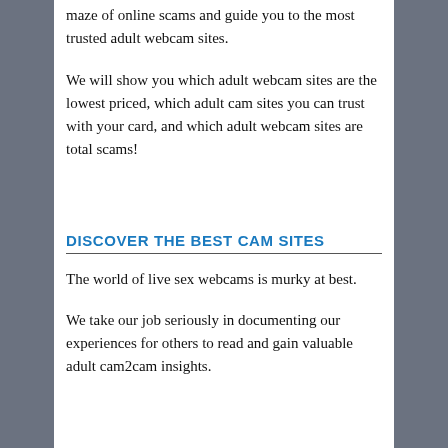Follow our guidance and we will walk you through the maze of online scams and guide you to the most trusted adult webcam sites.
We will show you which adult webcam sites are the lowest priced, which adult cam sites you can trust with your card, and which adult webcam sites are total scams!
DISCOVER THE BEST CAM SITES
The world of live sex webcams is murky at best.
We take our job seriously in documenting our experiences for others to read and gain valuable adult cam2cam insights.